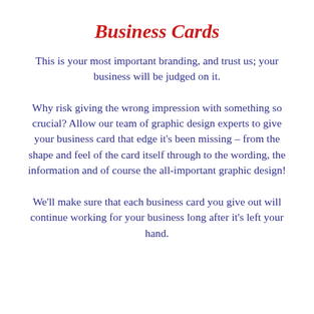Business Cards
This is your most important branding, and trust us; your business will be judged on it.
Why risk giving the wrong impression with something so crucial? Allow our team of graphic design experts to give your business card that edge it's been missing – from the shape and feel of the card itself through to the wording, the information and of course the all-important graphic design!
We'll make sure that each business card you give out will continue working for your business long after it's left your hand.